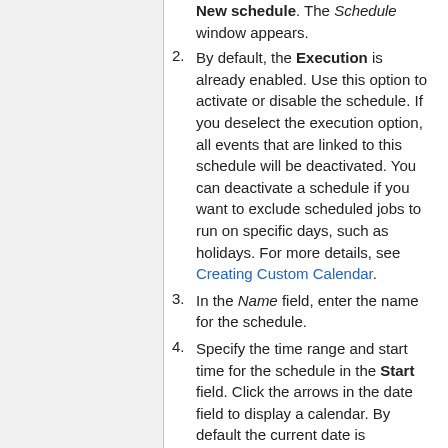New schedule. The Schedule window appears.
By default, the Execution is already enabled. Use this option to activate or disable the schedule. If you deselect the execution option, all events that are linked to this schedule will be deactivated. You can deactivate a schedule if you want to exclude scheduled jobs to run on specific days, such as holidays. For more details, see Creating Custom Calendar.
In the Name field, enter the name for the schedule.
Specify the time range and start time for the schedule in the Start field. Click the arrows in the date field to display a calendar. By default the current date is...